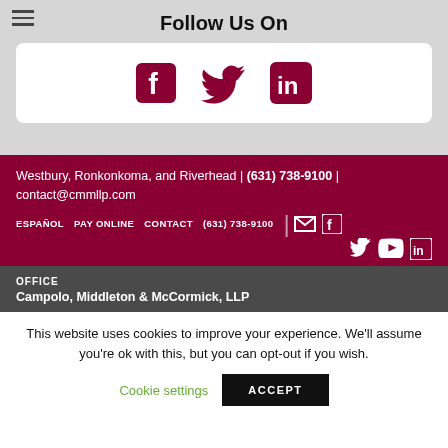Follow Us On
[Figure (illustration): Social media icons: Facebook, Twitter, LinkedIn in dark red/maroon color]
Westbury, Ronkonkoma, and Riverhead | (631) 738-9100 | contact@cmmllp.com
ESPAÑOL   PAY ONLINE   CONTACT   (631) 738-9100
OFFICE
Campolo, Middleton & McCormick, LLP
This website uses cookies to improve your experience. We'll assume you're ok with this, but you can opt-out if you wish.
Cookie settings   ACCEPT